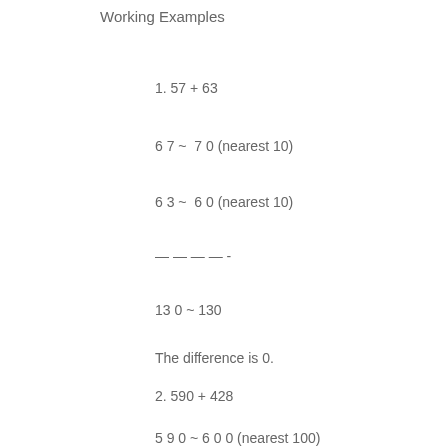Working Examples
1. 57 + 63
6 7 ~ 7 0 (nearest 10)
6 3 ~ 6 0 (nearest 10)
— — — — -
13 0 ~ 130
The difference is 0.
2. 590 + 428
5 9 0 ~ 6 0 0 (nearest 100)
1 3 0 ~ 1 0 0 (nearest 100)